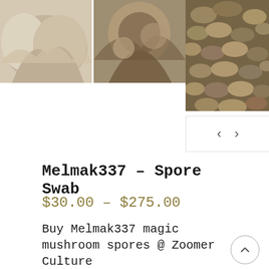[Figure (photo): Two mushroom photos side by side on the left (pale/cream colored mushrooms and cluster of mushrooms from above), and one taller photo on the right (dense cluster of brown mushrooms viewed from above)]
Melmak337 – Spore Swab
$30.00 – $275.00
Buy Melmak337 magic mushroom spores @ Zoomer Culture
Melmak337 is an absolutely gorgeous isolation. It came from Melmak Revert and was created by Strictly Spores. This strain is known for filling tubs with thick massive frui-